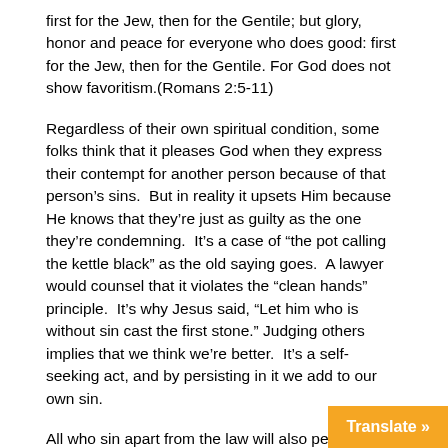first for the Jew, then for the Gentile; but glory, honor and peace for everyone who does good: first for the Jew, then for the Gentile. For God does not show favoritism.(Romans 2:5-11)
Regardless of their own spiritual condition, some folks think that it pleases God when they express their contempt for another person because of that person’s sins. But in reality it upsets Him because He knows that they’re just as guilty as the one they’re condemning. It’s a case of “the pot calling the kettle black” as the old saying goes. A lawyer would counsel that it violates the “clean hands” principle. It’s why Jesus said, “Let him who is without sin cast the first stone.” Judging others implies that we think we’re better. It’s a self-seeking act, and by persisting in it we add to our own sin.
All who sin apart from the law will also perish apart from the law, and all who sin under the law will be judged by the law. For it is not those who hear the law who are righteous in God’s sight, but it is those who obey the law who will be declared righteous. (Indeed, when Gentiles,